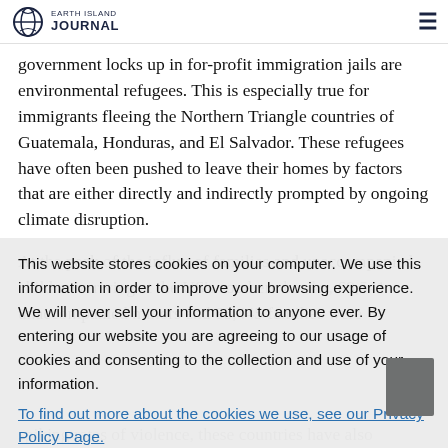EARTH ISLAND JOURNAL
government locks up in for-profit immigration jails are environmental refugees. This is especially true for immigrants fleeing the Northern Triangle countries of Guatemala, Honduras, and El Salvador. These refugees have often been pushed to leave their homes by factors that are either directly and indirectly prompted by ongoing climate disruption.
At the peak of the influx of families and unaccompanied children arriving at the US's southern border, 68,541 unaccompanied minors and 68,445 families were
This website stores cookies on your computer. We use this information in order to improve your browsing experience. We will never sell your information to anyone ever. By entering our website you are agreeing to our usage of cookies and consenting to the collection and use of your information.
To find out more about the cookies we use, see our Privacy Policy Page.
spiking rates of violence, these countries have also